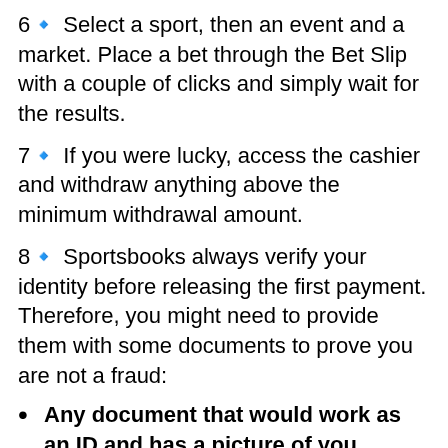6🔹 Select a sport, then an event and a market. Place a bet through the Bet Slip with a couple of clicks and simply wait for the results.
7🔹 If you were lucky, access the cashier and withdraw anything above the minimum withdrawal amount.
8🔹 Sportsbooks always verify your identity before releasing the first payment. Therefore, you might need to provide them with some documents to prove you are not a fraud:
Any document that would work as an ID and has a picture of you.
Proof of residence or utility bill.
Credit card pictures (without password)
[Figure (illustration): Gift box icon (green box with blue ribbon) with a red notification badge showing the number 6]